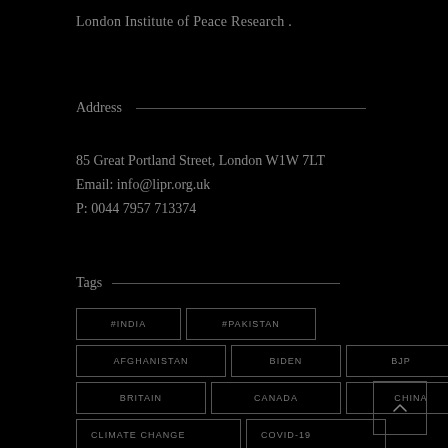London Institute of Peace Research .
Address
85 Great Portland Street, London W1W 7LT
Email: info@lipr.org.uk
P: 0044 7957 713374
Tags
#INDIA
#PAKISTAN
AFGHANISTAN
BIDEN
BJP
BRITAIN
CANADA
CHINA
CLIMATE CHANGE
COVID-19